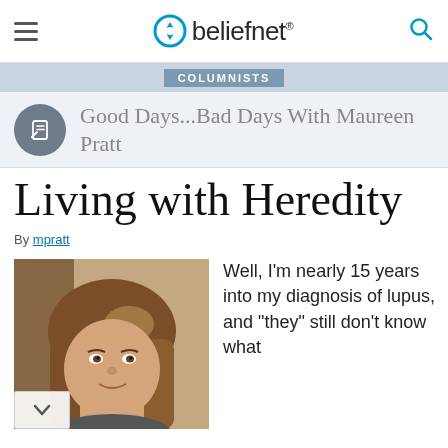beliefnet
COLUMNISTS
Good Days...Bad Days With Maureen Pratt
Living with Heredity
By mpratt
[Figure (photo): Portrait photo of a woman with brown shoulder-length hair, smiling slightly, indoors]
Well, I'm nearly 15 years into my diagnosis of lupus, and "they" still don't know what